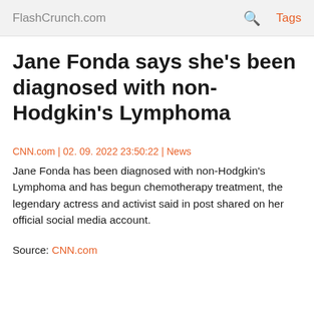FlashCrunch.com | 🔍 Tags
Jane Fonda says she's been diagnosed with non-Hodgkin's Lymphoma
CNN.com | 02. 09. 2022 23:50:22 | News
Jane Fonda has been diagnosed with non-Hodgkin's Lymphoma and has begun chemotherapy treatment, the legendary actress and activist said in post shared on her official social media account.
Source: CNN.com